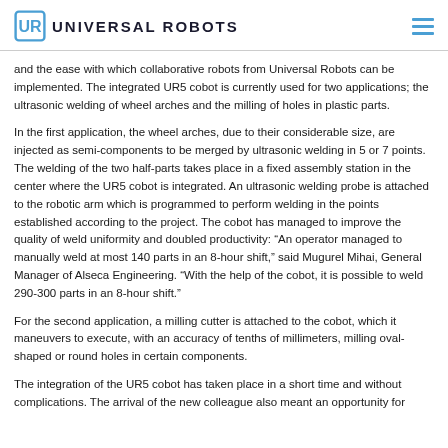UNIVERSAL ROBOTS
and the ease with which collaborative robots from Universal Robots can be implemented. The integrated UR5 cobot is currently used for two applications; the ultrasonic welding of wheel arches and the milling of holes in plastic parts.
In the first application, the wheel arches, due to their considerable size, are injected as semi-components to be merged by ultrasonic welding in 5 or 7 points. The welding of the two half-parts takes place in a fixed assembly station in the center where the UR5 cobot is integrated. An ultrasonic welding probe is attached to the robotic arm which is programmed to perform welding in the points established according to the project. The cobot has managed to improve the quality of weld uniformity and doubled productivity: “An operator managed to manually weld at most 140 parts in an 8-hour shift,” said Mugurel Mihai, General Manager of Alseca Engineering. “With the help of the cobot, it is possible to weld 290-300 parts in an 8-hour shift.”
For the second application, a milling cutter is attached to the cobot, which it maneuvers to execute, with an accuracy of tenths of millimeters, milling oval-shaped or round holes in certain components.
The integration of the UR5 cobot has taken place in a short time and without complications. The arrival of the new colleague also meant an opportunity for